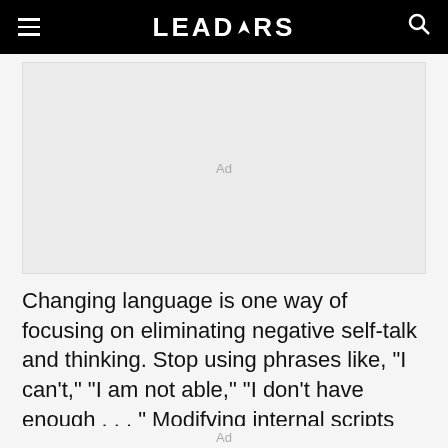LEADERS
[Figure (other): Advertisement placeholder box with 'Ad' label]
Changing language is one way of focusing on eliminating negative self-talk and thinking. Stop using phrases like, “I can’t,” “I am not able,” “I don’t have enough . . . ” Modifying internal scripts helps leaders visualize positive outcomes and share these
Ad